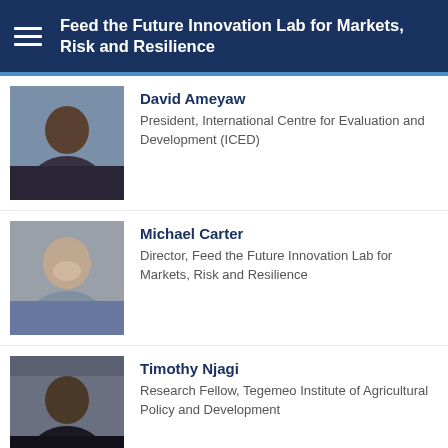Feed the Future Innovation Lab for Markets, Risk and Resilience
[Figure (photo): Headshot photo of David Ameyaw]
David Ameyaw
President, International Centre for Evaluation and Development (ICED)
[Figure (photo): Headshot photo of Michael Carter]
Michael Carter
Director, Feed the Future Innovation Lab for Markets, Risk and Resilience
[Figure (photo): Headshot photo of Timothy Njagi]
Timothy Njagi
Research Fellow, Tegemeo Institute of Agricultural Policy and Development
[Figure (photo): Headshot photo of Andrew Hobbs]
Andrew Hobbs
Ph.D. Candidate, Agricultural and